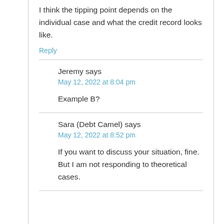I think the tipping point depends on the individual case and what the credit record looks like.
Reply
Jeremy says
May 12, 2022 at 8:04 pm
Example B?
Sara (Debt Camel) says
May 12, 2022 at 8:52 pm
If you want to discuss your situation, fine. But I am not responding to theoretical cases.